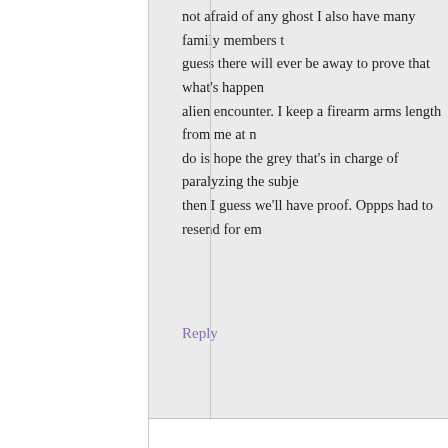not afraid of any ghost I also have many family members t guess there will ever be away to prove that what's happen alien encounter. I keep a firearm arms length from me at n do is hope the grey that's in charge of paralyzing the subje then I guess we'll have proof. Oppps had to resend for em
Reply
PAT
4:23 am on August 5, 2011
Hi Jay, I had an experience of so-called Sleep paralys ago. This is the first I've had in well over 2 decades a happening, I had a problem breathing probably becau gripped me -- not being able to move or speak and ce a presence which was responsible for my situation ev